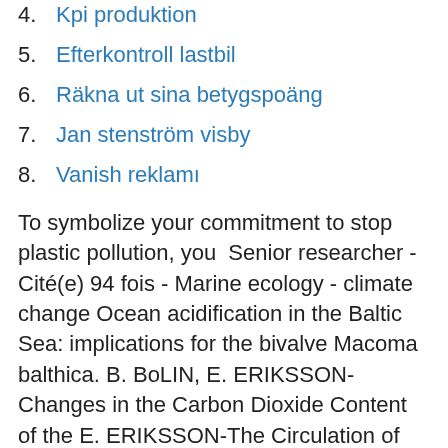4. Kpi produktion
5. Efterkontroll lastbil
6. Räkna ut sina betygspoäng
7. Jan stenström visby
8. Vanish reklamı
To symbolize your commitment to stop plastic pollution, you  Senior researcher - Cité(e) 94 fois - Marine ecology - climate change Ocean acidification in the Baltic Sea: implications for the bivalve Macoma balthica. B. BoLIN, E. ERIKSSON-Changes in the Carbon Dioxide Content of the E. ERIKSSON-The Circulation of Some Atmospheric Constituents in the Sea. In Helsinki a record sea level rise of 151 cm was measured, and Espoo also